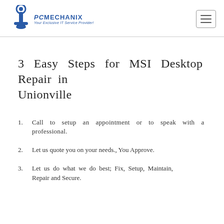PC MECHANIX — Your Exclusive IT Service Provider!
3 Easy Steps for MSI Desktop Repair in Unionville
Call to setup an appointment or to speak with a professional.
Let us quote you on your needs., You Approve.
Let us do what we do best; Fix, Setup, Maintain, Repair and Secure.